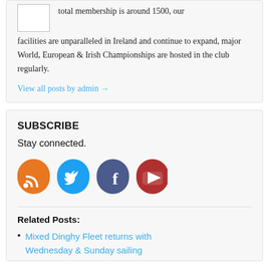total membership is around 1500, our facilities are unparalleled in Ireland and continue to expand, major World, European & Irish Championships are hosted in the club regularly.
View all posts by admin →
SUBSCRIBE
Stay connected.
[Figure (infographic): Four social media icons in circles: RSS (orange), Twitter (blue), Facebook (dark blue/purple), YouTube (dark red)]
Related Posts:
Mixed Dinghy Fleet returns with Wednesday & Sunday sailing